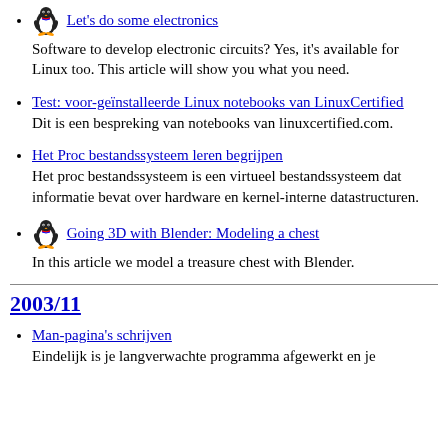Let's do some electronics
Software to develop electronic circuits? Yes, it's available for Linux too. This article will show you what you need.
Test: voor-geïnstalleerde Linux notebooks van LinuxCertified
Dit is een bespreking van notebooks van linuxcertified.com.
Het Proc bestandssysteem leren begrijpen
Het proc bestandssysteem is een virtueel bestandssysteem dat informatie bevat over hardware en kernel-interne datastructuren.
Going 3D with Blender: Modeling a chest
In this article we model a treasure chest with Blender.
2003/11
Man-pagina's schrijven
Eindelijk is je langverwachte programma afgewerkt en je